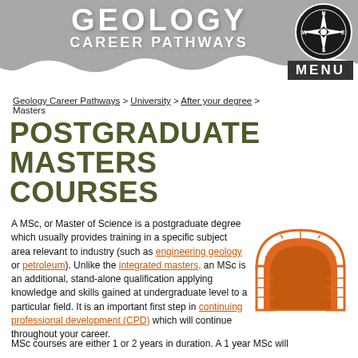GEOLOGY CAREER PATHWAYS
Geology Career Pathways > University > After your degree > Masters
Postgraduate Masters Courses
A MSc, or Master of Science is a postgraduate degree which usually provides training in a specific subject area relevant to industry (such as engineering geology or petroleum). Unlike the integrated masters, an MSc is an additional, stand-alone qualification applying knowledge and skills gained at undergraduate level to a particular field. It is an important first step in continuing professional development (CPD) which will continue throughout your career.
[Figure (illustration): Orange arch/tunnel illustration representing geology pathway]
MSc courses are either 1 or 2 years in duration. A 1 year MSc will